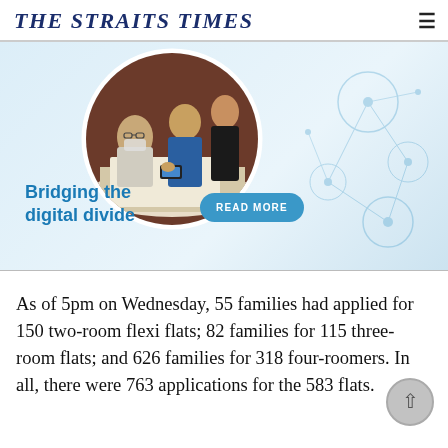THE STRAITS TIMES
[Figure (photo): Advertisement banner for 'Bridging the digital divide' showing people at a table with a smartphone, with a READ MORE button, set against a light blue background with network graphics.]
As of 5pm on Wednesday, 55 families had applied for 150 two-room flexi flats; 82 families for 115 three-room flats; and 626 families for 318 four-roomers. In all, there were 763 applications for the 583 flats.